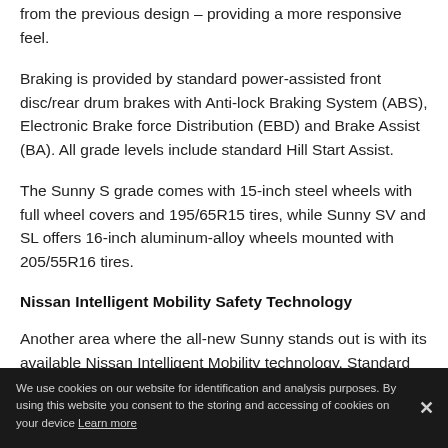from the previous design – providing a more responsive feel.
Braking is provided by standard power-assisted front disc/rear drum brakes with Anti-lock Braking System (ABS), Electronic Brake force Distribution (EBD) and Brake Assist (BA). All grade levels include standard Hill Start Assist.
The Sunny S grade comes with 15-inch steel wheels with full wheel covers and 195/65R15 tires, while Sunny SV and SL offers 16-inch aluminum-alloy wheels mounted with 205/55R16 tires.
Nissan Intelligent Mobility Safety Technology
Another area where the all-new Sunny stands out is with its available Nissan Intelligent Mobility technology. Standard on the SL grade are Intelligent  Automatic Emergency Braking, Intelligent Forward Collision Warning, Intelligent Blind Spot Warning, and Intelligent Rear Cross Traffic Alert.
We use cookies on our website for identification and analysis purposes. By using this website you consent to the storing and accessing of cookies on your device Learn more